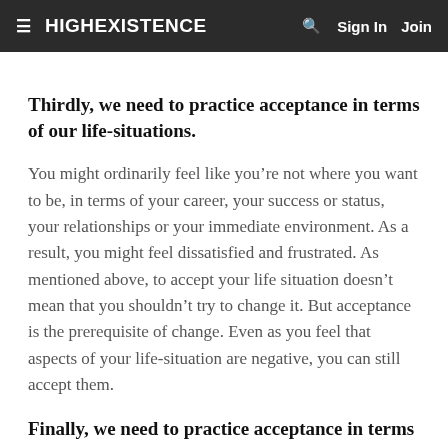≡ HIGHEXISTENCE  🔍  Sign In  Join
Thirdly, we need to practice acceptance in terms of our life-situations.
You might ordinarily feel like you're not where you want to be, in terms of your career, your success or status, your relationships or your immediate environment. As a result, you might feel dissatisfied and frustrated. As mentioned above, to accept your life situation doesn't mean that you shouldn't try to change it. But acceptance is the prerequisite of change. Even as you feel that aspects of your life-situation are negative, you can still accept them.
Finally, we need to practice acceptance in terms of some basic aspects of the human condition,